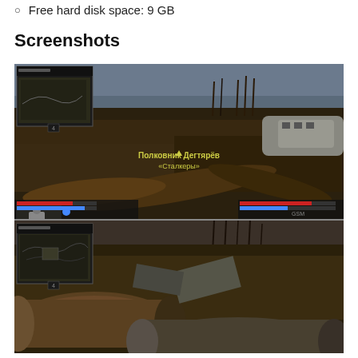Free hard disk space: 9 GB
Screenshots
[Figure (screenshot): Two stacked screenshots from a video game (S.T.A.L.K.E.R. or similar). Top screenshot shows a first-person view of a dark outdoor environment with fallen logs, bare trees, an airplane wreck, and a minimap in the top-left corner. Cyrillic text in the center reads 'Полковник Дегтярёв' and '«Сталкеры»'. HUD elements including health bars are visible at the bottom corners. Bottom screenshot shows a similar scene from a slightly different angle with a minimap in the bottom-left corner and large rusty pipes/cylinders in the foreground.]